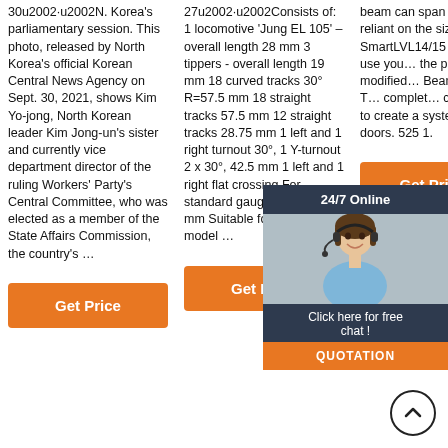30u2002·u2002N. Korea's parliamentary session. This photo, released by North Korea's official Korean Central News Agency on Sept. 30, 2021, shows Kim Yo-jong, North Korean leader Kim Jong-un's sister and currently vice department director of the ruling Workers' Party's Central Committee, who was elected as a member of the State Affairs Commission, the country's …
Get Price
27u2002·u2002Consists of: 1 locomotive 'Jung EL 105' – overall length 28 mm 3 tippers - overall length 19 mm 18 curved tracks 30° R=57.5 mm 18 straight tracks 57.5 mm 12 straight tracks 28.75 mm 1 left and 1 right turnout 30°, 1 Y-turnout 2 x 30°, 42.5 mm 1 left and 1 right flat crossing For standard gauge 30°, 57.5 mm Suitable for 2-ladder model …
Get Price
beam can span is almost entirely reliant on the size of the beam. SmartLVL14/15 Design … This is s… use you… the prev… and can… modified… Beams. Roller T… Doors T… complet… contain … you need to create a system for hanging doors. 525 1.
Get Price
[Figure (other): Chat widget overlay with woman wearing headset, '24/7 Online' header, 'Click here for free chat!' text, and orange QUOTATION button]